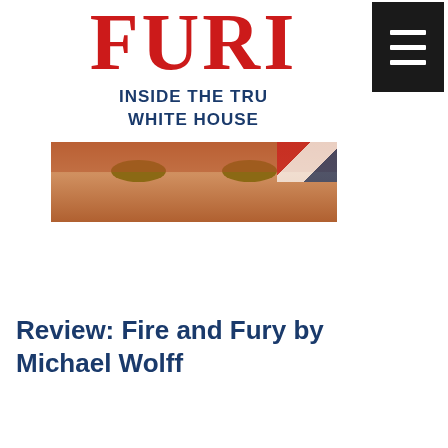[Figure (illustration): Book cover of Fire and Fury: Inside the Trump White House by Michael Wolff, showing partial title text 'FURY' in red, subtitle 'INSIDE THE TRUMP WHITE HOUSE' in blue, and a close-up photo of Trump's eyes and forehead. A hamburger menu icon is overlaid in the top-right corner.]
Review: Fire and Fury by Michael Wolff
Archive
March 2019 (1)